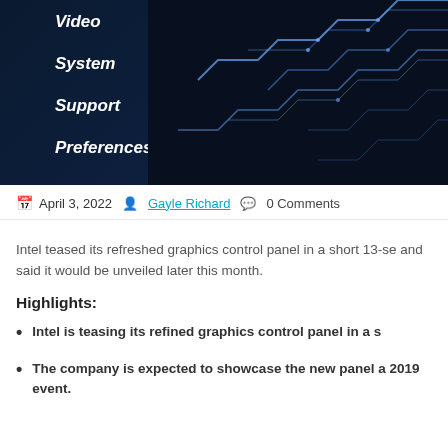[Figure (screenshot): Screenshot of Intel graphics control panel interface showing a dark blue themed menu with items: Video, System, Support, Preferences, and circuit board style glowing blue lines on the right side.]
April 3, 2022   Gayle Richard   0 Comments
Intel teased its refreshed graphics control panel in a short 13-se and said it would be unveiled later this month.
Highlights:
Intel is teasing its refined graphics control panel in a s
The company is expected to showcase the new panel a 2019 event.